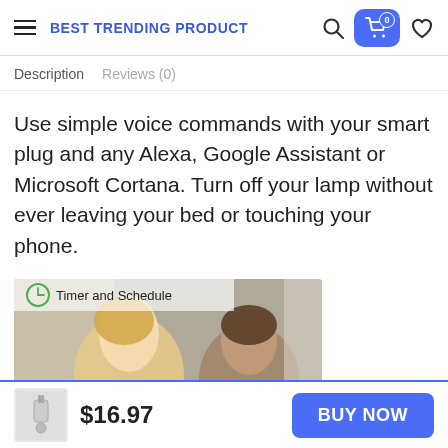BEST TRENDING PRODUCT
Description   Reviews (0)
Use simple voice commands with your smart plug and any Alexa, Google Assistant or Microsoft Cortana. Turn off your lamp without ever leaving your bed or touching your phone.
[Figure (photo): Photo of a woman and child smiling, with a green circular timer/schedule icon and text 'Timer and Schedule' overlaid on the image.]
$16.97
BUY NOW